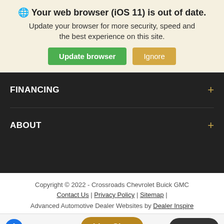🌐 Your web browser (iOS 11) is out of date. Update your browser for more security, speed and the best experience on this site.
Update browser | Ignore
FINANCING +
ABOUT +
Copyright © 2022 - Crossroads Chevrolet Buick GMC
Contact Us | Privacy Policy | Sitemap |
Advanced Automotive Dealer Websites by Dealer Inspire
Live Chat   Text Us